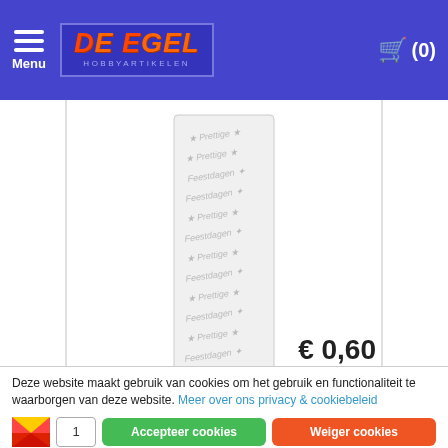De Egel Hobbyartikelen — Menu | Cart (0)
[Figure (photo): Product image of 'Prettige feestdagen groot platinum - Zilver' sticker sheet with silver Christmas greeting text and star decorations]
Prettige feestdagen groot platinum - Zilver
€ 0,60
Deze website maakt gebruik van cookies om het gebruik en functionaliteit te waarborgen van deze website. Meer over ons privacy & cookiebeleid
Accepteer cookies
Weiger cookies